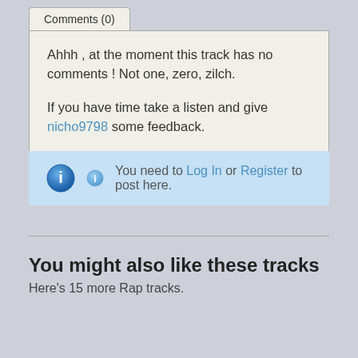Comments (0)
Ahhh , at the moment this track has no comments ! Not one, zero, zilch.

If you have time take a listen and give nicho9798 some feedback.
You need to Log In or Register to post here.
You might also like these tracks
Here's 15 more Rap tracks.